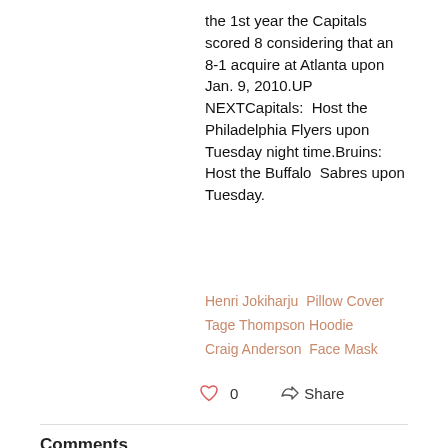the 1st year the Capitals scored 8 considering that an 8-1 acquire at Atlanta upon Jan. 9, 2010.UP NEXTCapitals:  Host the Philadelphia Flyers upon Tuesday night time.Bruins: Host the Buffalo  Sabres upon Tuesday.
Henri Jokiharju  Pillow Cover
Tage Thompson Hoodie
Craig Anderson  Face Mask
0  Share
Comments
Write a comment...
Similar Posts